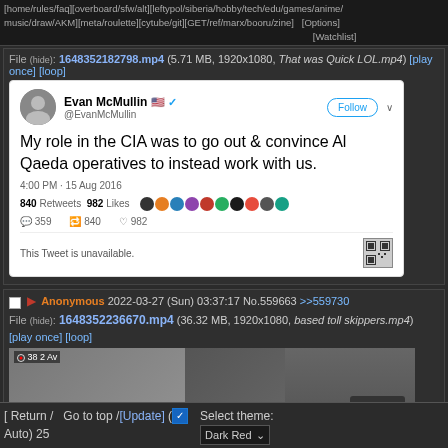[home/rules/faq][overboard/sfw/alt][leftypol/siberia/hobby/tech/edu/games/anime/music/draw/AKM][meta/roulette][cytube/git][GET/ref/marx/booru/zine]   [Options] [Watchlist]
File (hide): 1648352182798.mp4 (5.71 MB, 1920x1080, That was Quick LOL.mp4) [play once] [loop]
[Figure (screenshot): Screenshot of a tweet by Evan McMullin with US flag and verified emoji. Text reads: 'My role in the CIA was to go out & convince Al Qaeda operatives to instead work with us.' Posted 4:00 PM - 15 Aug 2016. 840 Retweets 982 Likes. Shows follow button, avatar icons, action buttons. Bottom shows 'This Tweet is unavailable' with a QR code.]
Anonymous 2022-03-27 (Sun) 03:37:17 No.559663 >>559730
File (hide): 1648352236670.mp4 (36.32 MB, 1920x1080, based toll skippers.mp4) [play once] [loop]
[Figure (screenshot): Video thumbnail showing subway turnstiles surveillance footage with large 'CRINGE' text overlay and a person in dark clothing. Camera overlay shows '38 2 Av' in the top left.]
[ Return /   Go to top /[Update] ( Auto) 25   Select theme: Dark Red